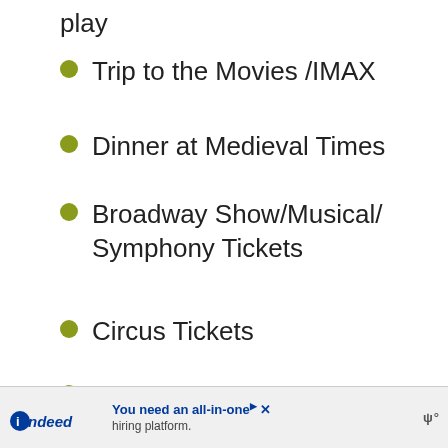play
Trip to the Movies /IMAX
Dinner at Medieval Times
Broadway Show/Musical/ Symphony Tickets
Circus Tickets
Laser Tag Pass
Mini Golf/Driving Range Pass
Trip to Arcade (try and purchase tokens ahead of time to wrap up!)
Local Fair/Carnival Tickets
[Figure (other): Indeed advertisement banner: 'You need an all-in-one hiring platform.']